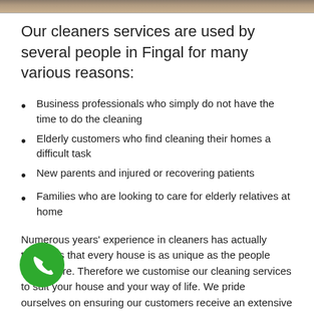[Figure (photo): Partial image strip at the top of the page showing a blurred indoor/cleaning scene]
Our cleaners services are used by several people in Fingal for many various reasons:
Business professionals who simply do not have the time to do the cleaning
Elderly customers who find cleaning their homes a difficult task
New parents and injured or recovering patients
Families who are looking to care for elderly relatives at home
Numerous years' experience in cleaners has actually taught us that every house is as unique as the people living there. Therefore we customise our cleaning services to suit your house and your way of life. We pride ourselves on ensuring our customers receive an extensive clean each and every time. Eco Clean Solutions provide a satisfaction warranty for a house domestic cleaning company you can count on.